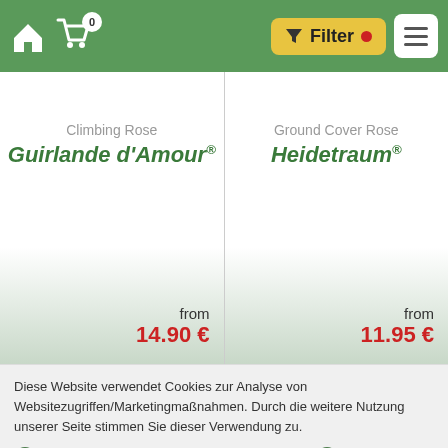Navigation bar with home icon, cart (0 items), Filter button, and menu button
Climbing Rose
Guirlande d'Amour ®
from
14.90 €
Ground Cover Rose
Heidetraum ®
from
11.95 €
Diese Website verwendet Cookies zur Analyse von Websitezugriffen/Marketingmaßnahmen. Durch die weitere Nutzung unserer Seite stimmen Sie dieser Verwendung zu.
ℹ Datenschutzerklärung
✓ Einverstanden